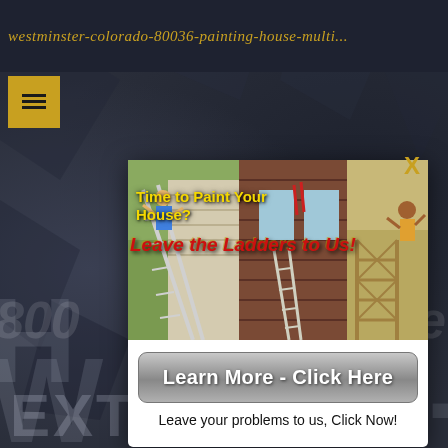westminster-colorado-80036-painting-house-multi...
[Figure (screenshot): Screenshot of a painting services website showing a popup modal. Background is dark with geometric shapes. The modal contains images of painters on ladders, overlay text 'Time to Paint Your House? Leave the Ladders to Us!', a 'Learn More - Click Here' button, and subtext 'Leave your problems to us, Click Now!']
Time to Paint Your House?
Leave the Ladders to Us!
Learn More - Click Here
Leave your problems to us, Click Now!